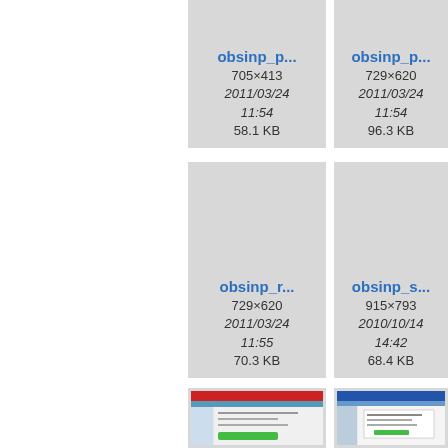[Figure (screenshot): File thumbnail card: obsinp_p... 705×413 2011/03/24 11:54 58.1 KB]
[Figure (screenshot): File thumbnail card: obsinp_p... 729×620 2011/03/24 11:54 96.3 KB]
[Figure (screenshot): File thumbnail card: obsinp_r... 729×620 2011/03/24 11:55 70.3 KB]
[Figure (screenshot): File thumbnail card: obsinp_s... 915×793 2010/10/14 14:42 68.4 KB]
[Figure (screenshot): Third row left thumbnail showing a software screenshot with red header bar]
[Figure (screenshot): Third row middle thumbnail showing a software screenshot with blue header bar]